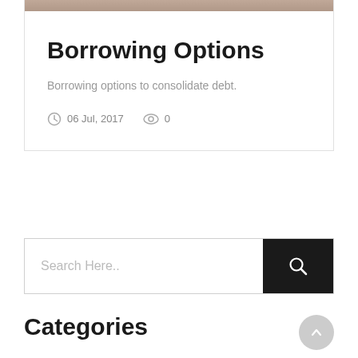[Figure (photo): Partial view of people at top of card, cropped]
Borrowing Options
Borrowing options to consolidate debt.
06 Jul, 2017   0
[Figure (other): Search bar with text 'Search Here..' and black search button with magnifying glass icon]
Categories